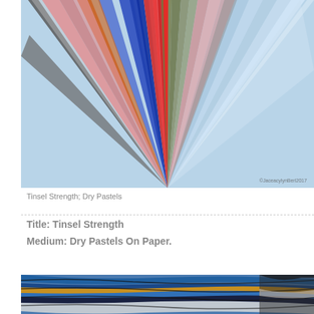[Figure (illustration): A colorful dry pastel artwork showing radiating stripes of color (blue, red, pink, green, orange, gray, white) spreading fan-like upward from a central point, resembling feathers or tinsel. Watermark reads ©JaceacylynBerl2017. Background is light blue.]
Tinsel Strength; Dry Pastels
Title: Tinsel Strength
Medium: Dry Pastels On Paper.
[Figure (illustration): A colorful dry pastel artwork showing horizontal wavy flowing stripes in blues, golds, blacks, whites and earth tones, resembling flowing fabric or waves.]